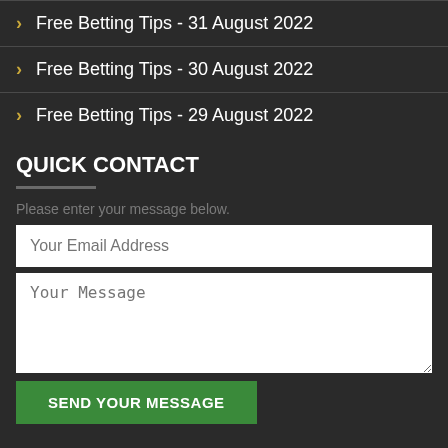Free Betting Tips - 31 August 2022
Free Betting Tips - 30 August 2022
Free Betting Tips - 29 August 2022
QUICK CONTACT
Please enter your message below.
Your Email Address
Your Message
SEND YOUR MESSAGE